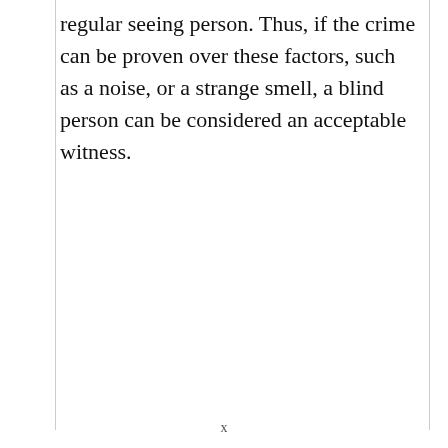regular seeing person. Thus, if the crime can be proven over these factors, such as a noise, or a strange smell, a blind person can be considered an acceptable witness.
x